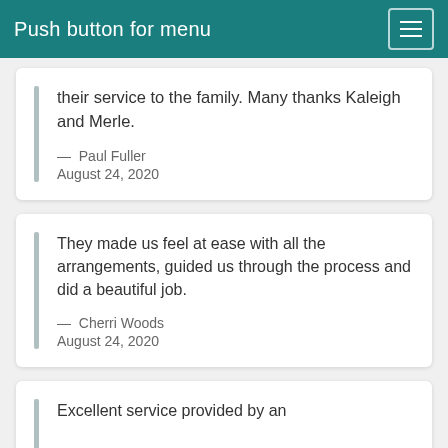Push button for menu
their service to the family. Many thanks Kaleigh and Merle.
— Paul Fuller
August 24, 2020
They made us feel at ease with all the arrangements, guided us through the process and did a beautiful job.
— Cherri Woods
August 24, 2020
Excellent service provided by an